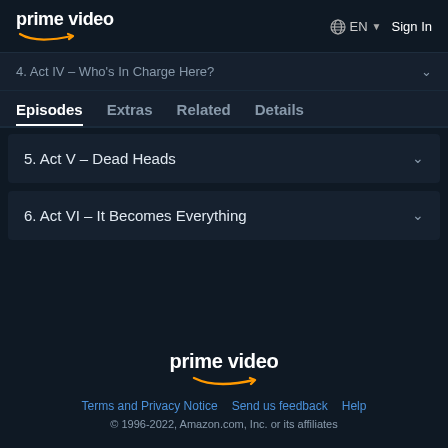prime video  EN  Sign In
4. Act IV – Who's In Charge Here?
Episodes  Extras  Related  Details
5. Act V – Dead Heads
6. Act VI – It Becomes Everything
[Figure (logo): Prime Video logo with smile arrow]
Terms and Privacy Notice  Send us feedback  Help
© 1996-2022, Amazon.com, Inc. or its affiliates